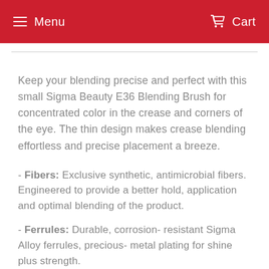Menu   Cart
Keep your blending precise and perfect with this small Sigma Beauty E36 Blending Brush for concentrated color in the crease and corners of the eye. The thin design makes crease blending effortless and precise placement a breeze.
- Fibers: Exclusive synthetic, antimicrobial fibers. Engineered to provide a better hold, application and optimal blending of the product.
- Ferrules: Durable, corrosion- resistant Sigma Alloy ferrules, precious- metal plating for shine plus strength.
- Handle: ...